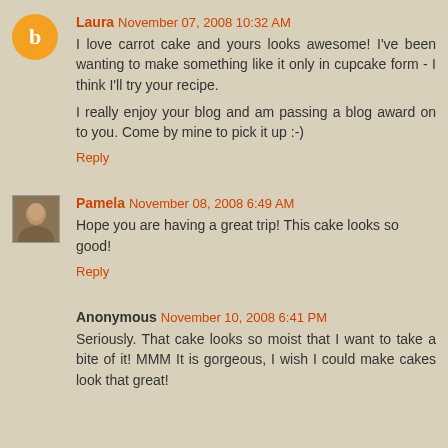Laura November 07, 2008 10:32 AM
I love carrot cake and yours looks awesome! I've been wanting to make something like it only in cupcake form - I think I'll try your recipe.

I really enjoy your blog and am passing a blog award on to you. Come by mine to pick it up :-)
Reply
Pamela November 08, 2008 6:49 AM
Hope you are having a great trip! This cake looks so good!
Reply
Anonymous November 10, 2008 6:41 PM
Seriously. That cake looks so moist that I want to take a bite of it! MMM It is gorgeous, I wish I could make cakes look that great!